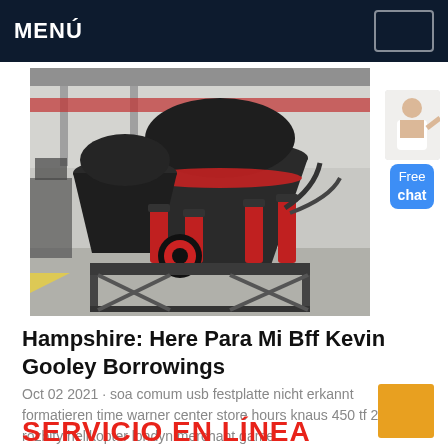MENÚ
[Figure (photo): Industrial cone crusher machine with black and red hydraulic components on a metal frame, photographed in a factory/warehouse setting with yellow floor markings.]
[Figure (infographic): Free chat widget with a person icon and blue 'Free chat' button on the right side of the page.]
Hampshire: Here Para Mi Bff Kevin Gooley Borrowings
Oct 02 2021 · soa comum usb festplatte nicht erkannt formatieren time warner center store hours knaus 450 tf 2000 rozbity helikopter londyn merchant game
SERVICIO EN LÍNEA